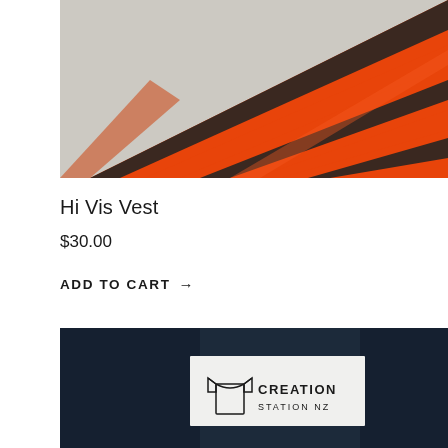[Figure (photo): Close-up of a hi-vis vest with orange and dark brown/black horizontal stripes, folded or draped, on a light grey background.]
Hi Vis Vest
$30.00
ADD TO CART →
[Figure (photo): Dark navy blue fabric/tablecloth with a white rectangular label/tag in the center showing a t-shirt icon and the text CREATION STATION NZ.]